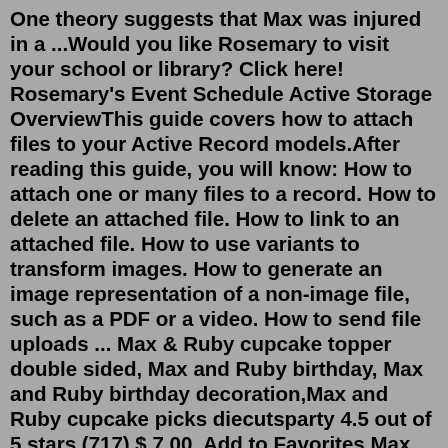One theory suggests that Max was injured in a ...Would you like Rosemary to visit your school or library? Click here! Rosemary's Event Schedule Active Storage OverviewThis guide covers how to attach files to your Active Record models.After reading this guide, you will know: How to attach one or many files to a record. How to delete an attached file. How to link to an attached file. How to use variants to transform images. How to generate an image representation of a non-image file, such as a PDF or a video. How to send file uploads ... Max & Ruby cupcake topper double sided, Max and Ruby birthday, Max and Ruby birthday decoration,Max and Ruby cupcake picks diecutsparty 4.5 out of 5 stars (717) $ 7.00. Add to Favorites Max and Ruby Table Cover - Deigned to Match our Party Supplies and Decorations, For use with 1st Birthday, Baby Shower, or Gender Reveal ...Welcome to the Official Max & Ruby YouTube channel! This is the ultimate destination for Max & Ruby fans. Catch up on all your favourite episodes, shorts, and fan fav...